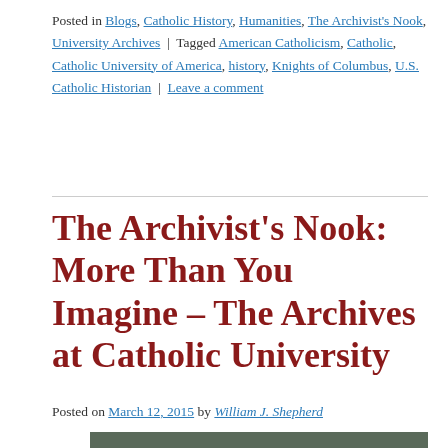Posted in Blogs, Catholic History, Humanities, The Archivist's Nook, University Archives | Tagged American Catholicism, Catholic, Catholic University of America, history, Knights of Columbus, U.S. Catholic Historian | Leave a comment
The Archivist's Nook: More Than You Imagine – The Archives at Catholic University
Posted on March 12, 2015 by William J. Shepherd
[Figure (photo): Black and white photograph partially visible at the bottom of the page]